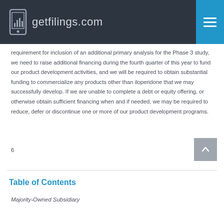getfilings.com
requirement for inclusion of an additional primary analysis for the Phase 3 study, we need to raise additional financing during the fourth quarter of this year to fund our product development activities, and we will be required to obtain substantial funding to commercialize any products other than iloperidone that we may successfully develop. If we are unable to complete a debt or equity offering, or otherwise obtain sufficient financing when and if needed, we may be required to reduce, defer or discontinue one or more of our product development programs.
6
Table of Contents
Majority-Owned Subsidiary